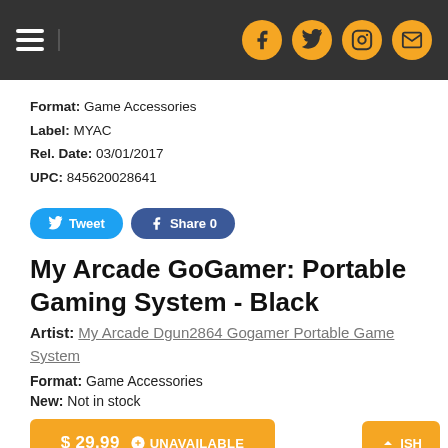Navigation bar with hamburger menu and social icons (Facebook, Twitter, Instagram, Email)
Format: Game Accessories
Label: MYAC
Rel. Date: 03/01/2017
UPC: 845620028641
[Figure (other): Tweet and Facebook Share 0 social share buttons]
My Arcade GoGamer: Portable Gaming System - Black
Artist: My Arcade Dgun2864 Gogamer Portable Game System
Format: Game Accessories
New: Not in stock
[Figure (other): $ 29.99 UNAVAILABLE button and WISH button in orange]